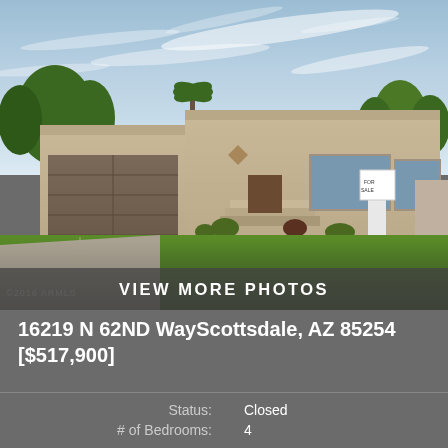[Figure (photo): Exterior photo of a single-story Adobe/Southwestern style home with tan/stucco finish, two-car garage, green lawn, driveway, palm trees in background, blue sky with clouds. White real estate sign in front yard.]
VIEW MORE PHOTOS
16219 N 62ND WayScottsdale, AZ 85254
[$517,900]
| Field | Value |
| --- | --- |
| Status: | Closed |
| # of Bedrooms: | 4 |